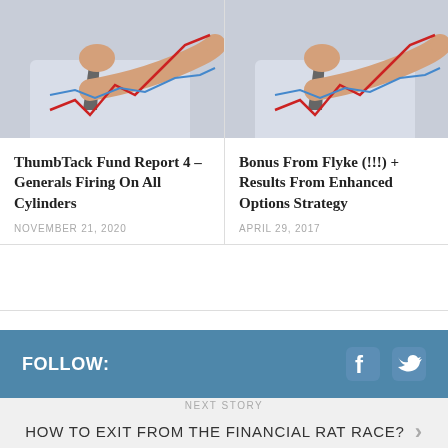[Figure (photo): Businessman in white shirt and grey tie pointing at rising red and blue line chart graphs, blurred background. Left card image.]
ThumbTack Fund Report 4 – Generals Firing On All Cylinders
NOVEMBER 21, 2020
[Figure (photo): Businessman in white shirt and grey tie pointing at rising red and blue line chart graphs, blurred background. Right card image.]
Bonus From Flyke (!!!) + Results From Enhanced Options Strategy
APRIL 29, 2017
FOLLOW:
NEXT STORY
HOW TO EXIT FROM THE FINANCIAL RAT RACE?